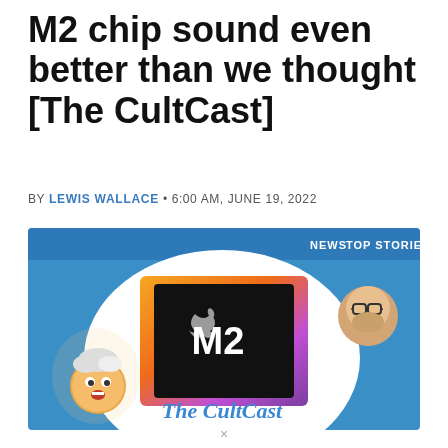M2 chip sound even better than we thought [The CultCast]
BY LEWIS WALLACE • 6:00 AM, JUNE 19, 2022
[Figure (illustration): CultCast podcast thumbnail featuring Apple M2 chip on a colorful gradient background with animated Memoji characters and 'The CultCast' text, with NEWS and TOP STORIES labels at top right.]